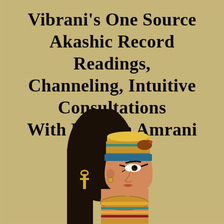Vibrani's One Source Akashic Record Readings, Channeling, Intuitive Consultations With E. Nora Amrani
[Figure (illustration): Egyptian figure illustration (Cleopatra/Nefertiti style) shown in profile facing right, wearing traditional pharaonic headdress with gold crown, black wig, blue headband, large golden collar/necklace, and traditional Egyptian eye makeup. The figure is depicted in the classic Egyptian papyrus art style with warm earth tones.]